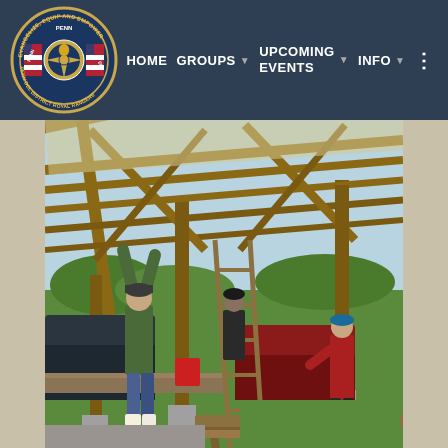[Figure (logo): Penn-Del District Royal Rangers circular badge/emblem with text 'EVANGELIZE, EQUIP AND EMPOWER' around the border, featuring a ranger badge design with American flags, a compass rose, and state of Pennsylvania outline]
HOME   GROUPS ▾   UPCOMING EVENTS ▾   INFO ▾   ⋮
[Figure (photo): Outdoor construction scene showing men working on a wooden open-air pavilion/shelter structure with a metal roof. One person in green jacket is reaching up to work on the wooden rafters while standing on a flatbed trailer. Another person stands on a ladder in the background. A third person in a red jacket is visible on the right side. Picnic tables are in the foreground. Vehicles and green fields visible in background.]